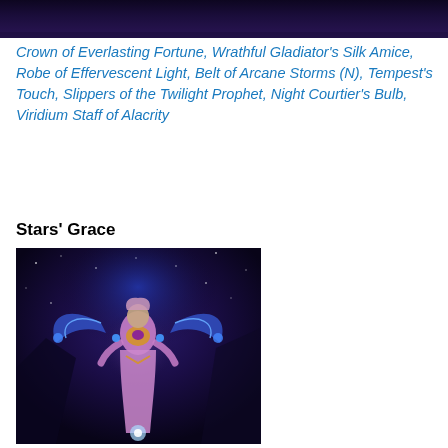[Figure (photo): Screenshot from a fantasy video game (World of Warcraft) showing a dark purple/blue background at the top of the page.]
Crown of Everlasting Fortune, Wrathful Gladiator's Silk Amice, Robe of Effervescent Light, Belt of Arcane Storms (N), Tempest's Touch, Slippers of the Twilight Prophet, Night Courtier's Bulb, Viridium Staff of Alacrity
Stars' Grace
[Figure (photo): Screenshot from a fantasy video game (World of Warcraft) showing a female character dressed in pink and gold robes with glowing blue wings against a dark purple starry background.]